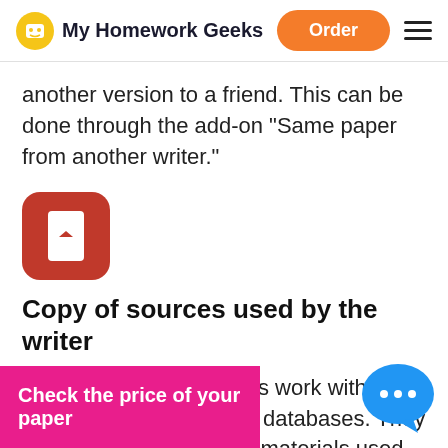My Homework Geeks | Order
another version to a friend. This can be done through the add-on "Same paper from another writer."
[Figure (logo): Red rounded square icon with white bookmark/book symbol]
Copy of sources used by the writer
Our college essay writers work with ScienceDirect and other databases. They can send you articles or materials used in PDF… tick the "Copy… orm
Check the price of your paper